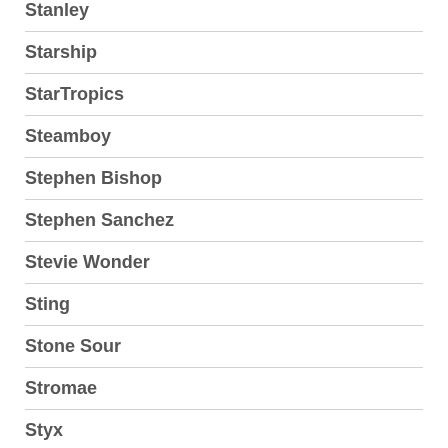Stanley
Starship
StarTropics
Steamboy
Stephen Bishop
Stephen Sanchez
Stevie Wonder
Sting
Stone Sour
Stromae
Styx
Succession